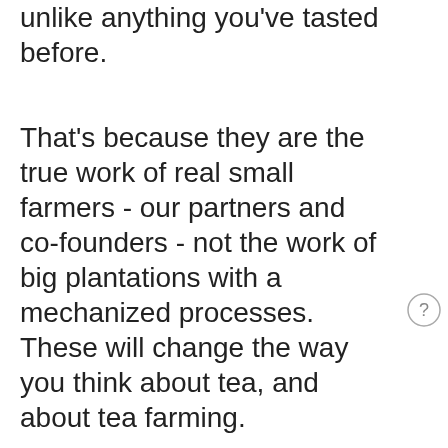unlike anything you've tasted before.
That's because they are the true work of real small farmers - our partners and co-founders - not the work of big plantations with a mechanized processes. These will change the way you think about tea, and about tea farming.